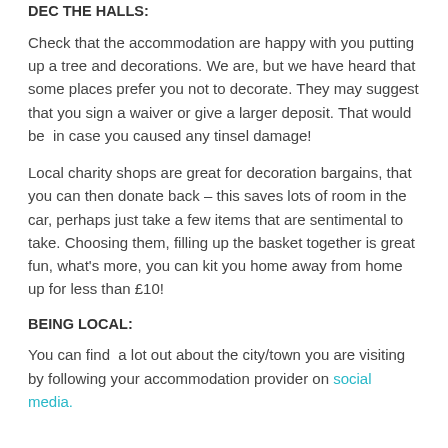DEC THE HALLS:
Check that the accommodation are happy with you putting up a tree and decorations. We are, but we have heard that some places prefer you not to decorate. They may suggest that you sign a waiver or give a larger deposit. That would be in case you caused any tinsel damage!
Local charity shops are great for decoration bargains, that you can then donate back – this saves lots of room in the car, perhaps just take a few items that are sentimental to take. Choosing them, filling up the basket together is great fun, what's more, you can kit you home away from home up for less than £10!
BEING LOCAL:
You can find  a lot out about the city/town you are visiting by following your accommodation provider on social media.